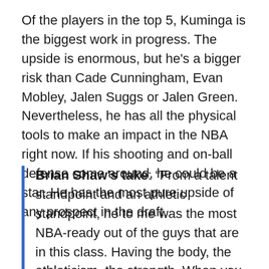Of the players in the top 5, Kuminga is the biggest work in progress. The upside is enormous, but he's a bigger risk than Cade Cunningham, Evan Mobley, Jalen Suggs or Jalen Green. Nevertheless, he has all the physical tools to make an impact in the NBA right now. If his shooting and on-ball defense come around, he could be a star. He has the most pure upside of any prospect in the draft.
Brian Shaw's take: “From a talent standpoint and an athletic standpoint, he to me was the most NBA-ready out of the guys that are in this class. Having the body, the athleticism, the strength. When you watch him, it maybe doesn’t look as smooth as Jalen on the offensive side. He’s efficient and he gets it done. He can score from all three levels. I think maybe the best two-way player in the draft. We